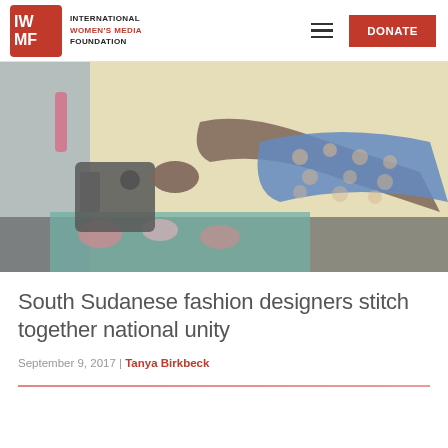INTERNATIONAL WOMEN'S MEDIA FOUNDATION
[Figure (photo): A South Sudanese woman in a blue patterned dress sewing at a sewing machine, with colorful fabric in the foreground and a yellow wall in the background.]
South Sudanese fashion designers stitch together national unity
September 9, 2017 | Tanya Birkbeck